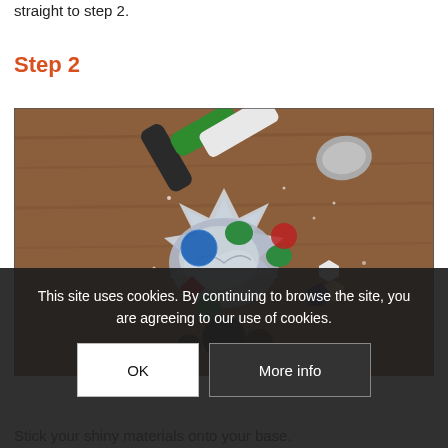straight to step 2.
Step 2
[Figure (photo): Craft project photo showing a star-shaped silver foil base on a wooden surface, decorated with colorful glittery shapes (blue circle, green shapes, red diamond, etc.) and a glue stick with its cap nearby.]
This site uses cookies. By continuing to browse the site, you are agreeing to our use of cookies.
Stick your shiny materials onto your base.